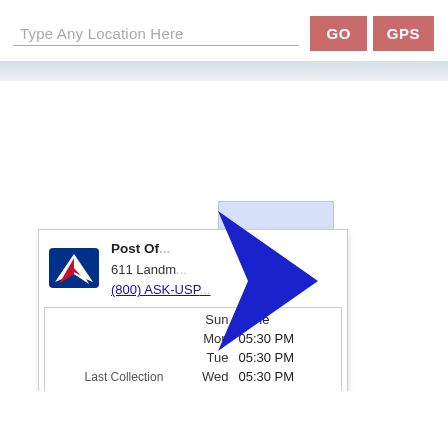Type Any Location Here
[Figure (screenshot): USPS Post Office locator web app interface showing a search bar with 'Type Any Location Here' placeholder, GO and GPS buttons, a map area with a blue navigation arrow and light blue rectangle overlay, and a USPS Post Office popup card showing address 611 Landm... (truncated), phone (800) ASK-USP..., and a Last Collection schedule table: Sun None, Mon 05:30 PM, Tue 05:30 PM, Wed 05:30 PM, Thu 05:30 PM, Fri 05:30 PM, Sat 04:00 PM]
|  | Day | Time |
| --- | --- | --- |
|  | Sun | None |
|  | Mon | 05:30 PM |
|  | Tue | 05:30 PM |
| Last Collection | Wed | 05:30 PM |
|  | Thu | 05:30 PM |
|  | Fri | 05:30 PM |
|  | Sat | 04:00 PM |